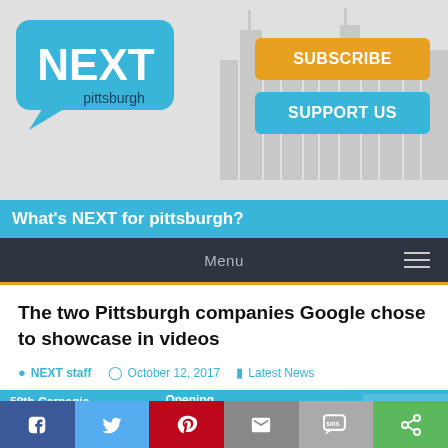[Figure (logo): NEXT Pittsburgh logo: speech bubble in light blue with NEXT in white bold text and 'pittsburgh' in dark text below]
[Figure (infographic): Subscribe button (orange/gold) and Support Us button (blue) in upper right of header]
What's NEXT for pittsburgh?
Menu
The two Pittsburgh companies Google chose to showcase in videos
NEXT staff   October 12, 2017   Latest News
[Figure (infographic): 58th Carnegie International Opening Celebration Party - In partnership with NEXTpittsburgh - September 23 - Carnegie Museum of Art - Buy Tickets]
[Figure (infographic): Social share bar with icons for Facebook, Twitter, Pinterest, Email, SMS, and share/other]